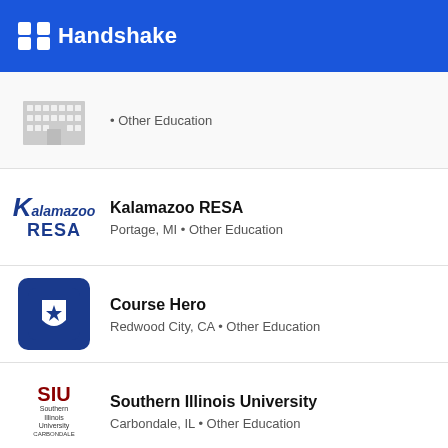Handshake
Other Education
Kalamazoo RESA • Portage, MI • Other Education
Course Hero • Redwood City, CA • Other Education
Southern Illinois University • Carbondale, IL • Other Education
Ann Arbor District Library • Other Education
Craftsy